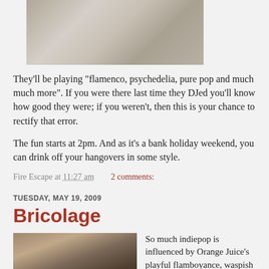[Figure (photo): Partial photo at top, appears to show rocks or stone texture, cropped]
They'll be playing "flamenco, psychedelia, pure pop and much much more". If you were there last time they DJed you'll know how good they were; if you weren't, then this is your chance to rectify that error.
The fun starts at 2pm. And as it's a bank holiday weekend, you can drink off your hangovers in some style.
Fire Escape at 11:27 am   2 comments:
TUESDAY, MAY 19, 2009
Bricolage
[Figure (photo): Sepia-toned photograph of people standing in front of a large stone building]
So much indiepop is influenced by Orange Juice's playful flamboyance, waspish lyrics and childlike melodrama; very little of it